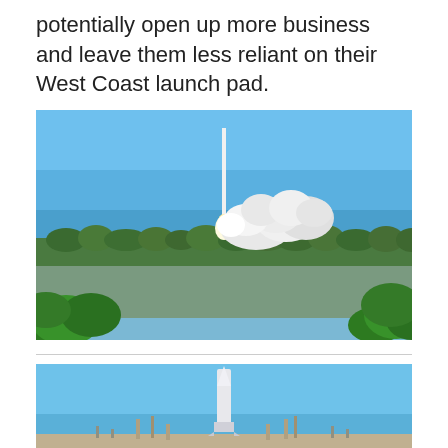potentially open up more business and leave them less reliant on their West Coast launch pad.
[Figure (photo): A rocket launching from a coastal launch site, viewed across a wide body of water with green vegetation in the foreground. Large white clouds of exhaust billow out from the base of the rocket against a bright blue sky.]
[Figure (photo): A rocket on a launch pad seen against a blue sky, with support structures visible around it.]